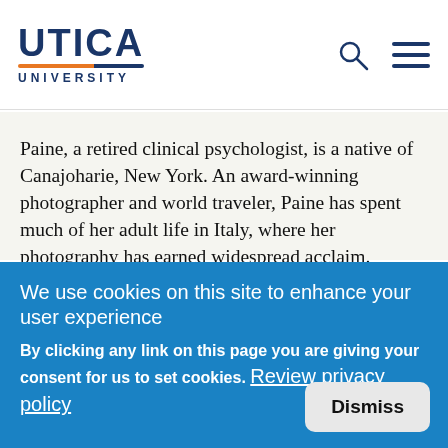UTICA UNIVERSITY
Paine, a retired clinical psychologist, is a native of Canajoharie, New York. An award-winning photographer and world traveler, Paine has spent much of her adult life in Italy, where her photography has earned widespread acclaim.
We use cookies on this site to enhance your user experience
By clicking any link on this page you are giving your consent for us to set cookies. Review privacy policy
Dismiss